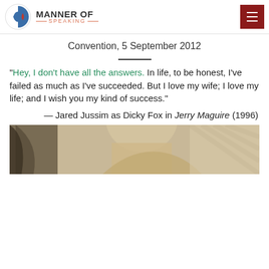MANNER OF SPEAKING — SPEAKING —
Convention, 5 September 2012
"Hey, I don't have all the answers. In life, to be honest, I've failed as much as I've succeeded. But I love my wife; I love my life; and I wish you my kind of success."
— Jared Jussim as Dicky Fox in Jerry Maguire (1996)
[Figure (photo): Portrait photo of a man, partially visible, cropped at the bottom of the page]